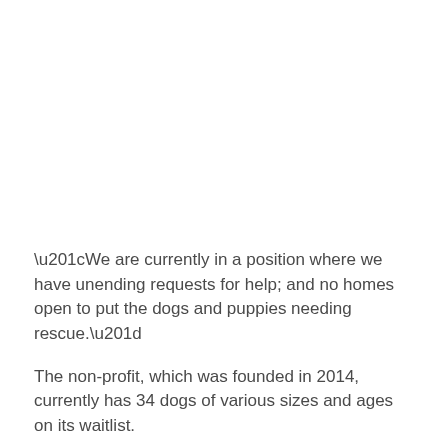“We are currently in a position where we have unending requests for help; and no homes open to put the dogs and puppies needing rescue.”
The non-profit, which was founded in 2014, currently has 34 dogs of various sizes and ages on its waitlist.
“The only way we can lift the intake freeze is by